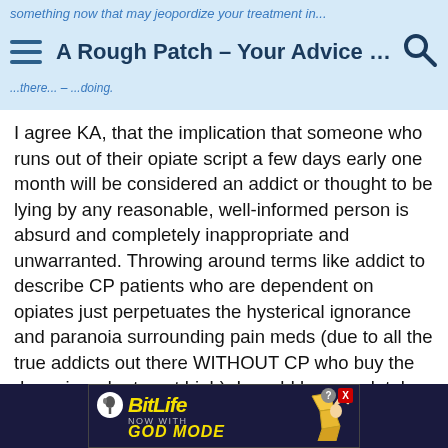something now that may jeopordize your treatment in... A Rough Patch – Your Advice P... ...there... – ...doing.
I agree KA, that the implication that someone who runs out of their opiate script a few days early one month will be considered an addict or thought to be lying by any reasonable, well-informed person is absurd and completely inappropriate and unwarranted. Throwing around terms like addict to describe CP patients who are dependent on opiates just perpetuates the hysterical ignorance and paranoia surrounding pain meds (due to all the true addicts out there WITHOUT CP who buy the drugs in order to get high). I would be completely appalled and outraged if I told my doctor KA's story and he called it an addict story or suggested that I was an addict...that's like saying your pain isn't real and you aren't taking your meds responsibly, as needed for a legitimate purpose, which is a highly slanderous claim for a medical professional to make against
[Figure (screenshot): BitLife advertisement banner with 'NOW WITH GOD MODE' text and cartoon hand pointing]